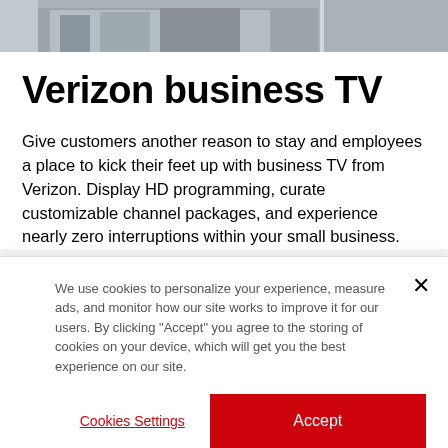[Figure (photo): Partial hero image of a building or street scene, cropped at top]
Verizon business TV
Give customers another reason to stay and employees a place to kick their feet up with business TV from Verizon. Display HD programming, curate customizable channel packages, and experience nearly zero interruptions within your small business.
We use cookies to personalize your experience, measure ads, and monitor how our site works to improve it for our users. By clicking "Accept" you agree to the storing of cookies on your device, which will get you the best experience on our site.
Cookies Settings
Accept